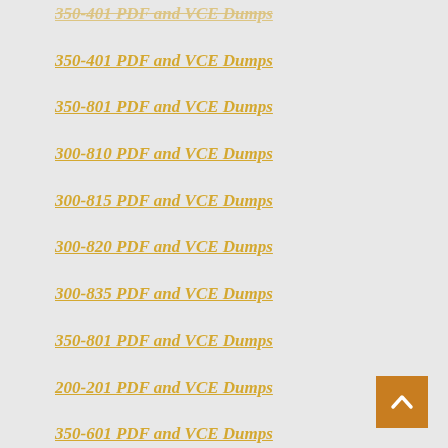350-401 PDF and VCE Dumps
350-801 PDF and VCE Dumps
300-810 PDF and VCE Dumps
300-815 PDF and VCE Dumps
300-820 PDF and VCE Dumps
300-835 PDF and VCE Dumps
350-801 PDF and VCE Dumps
200-201 PDF and VCE Dumps
350-601 PDF and VCE Dumps
300-610 PDF and VCE Dumps